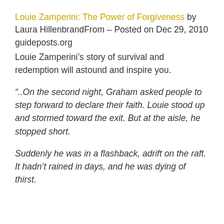Louie Zamperini: The Power of Forgiveness by Laura HillenbrandFrom – Posted on Dec 29, 2010 guideposts.org
Louie Zamperini's story of survival and redemption will astound and inspire you.
“..On the second night, Graham asked people to step forward to declare their faith. Louie stood up and stormed toward the exit. But at the aisle, he stopped short.
Suddenly he was in a flashback, adrift on the raft. It hadn’t rained in days, and he was dying of thirst.